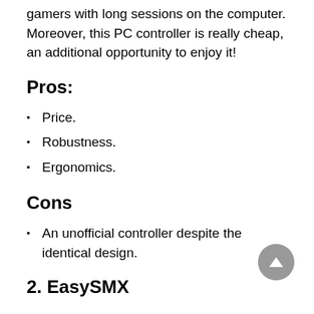gamers with long sessions on the computer. Moreover, this PC controller is really cheap, an additional opportunity to enjoy it!
Pros:
Price.
Robustness.
Ergonomics.
Cons
An unofficial controller despite the identical design.
2. EasySMX